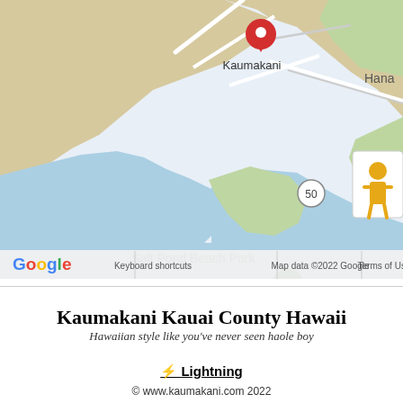[Figure (map): Google Maps screenshot showing Kaumakani area in Kauai, Hawaii. Shows Salt Pond Beach Park, a red location pin marker labeled Kaumakani, road 50, zoom controls (+/-), street view person icon, and Google logo with keyboard shortcuts and map data copyright 2022 Google footer.]
Kaumakani Kauai County Hawaii
Hawaiian style like you've never seen haole boy
⚡ Lightning
© www.kaumakani.com 2022